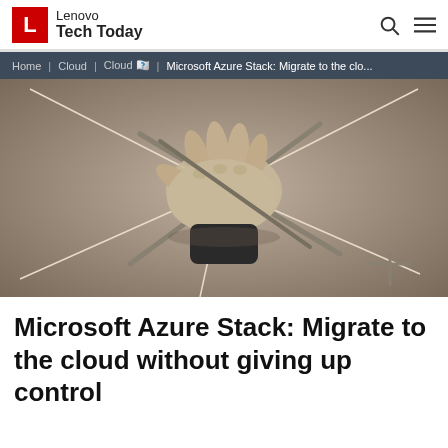Lenovo Tech Today
Home | Cloud | Cloud 기술 | Microsoft Azure Stack: Migrate to the clo...
[Figure (photo): Black and white / sepia-toned close-up photograph of a hand holding crossed sticks with strings attached, like a puppet master's control bar, against a grey background.]
Microsoft Azure Stack: Migrate to the cloud without giving up control